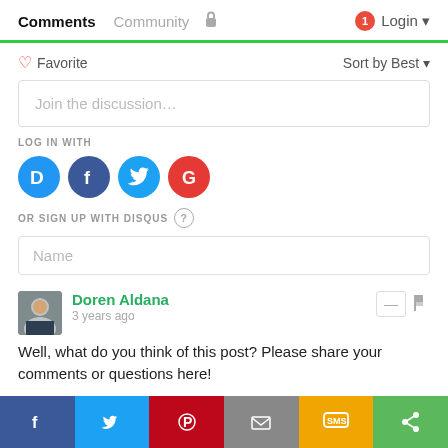Comments  Community  🔒  1  Login
♡ Favorite    Sort by Best
Join the discussion...
LOG IN WITH
[Figure (logo): Social login icons: Disqus (blue D), Facebook (dark blue f), Twitter (light blue bird), Google (red G)]
OR SIGN UP WITH DISQUS  ?
Name
Doren Aldana
3 years ago
Well, what do you think of this post? Please share your comments or questions here!
f  Twitter  Pinterest  Email  SMS  Share